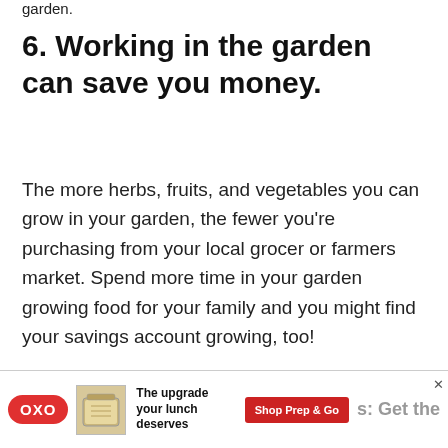garden.
6. Working in the garden can save you money.
The more herbs, fruits, and vegetables you can grow in your garden, the fewer you're purchasing from your local grocer or farmers market. Spend more time in your garden growing food for your family and you might find your savings account growing, too!
[Figure (infographic): OXO advertisement banner: OXO logo in red oval, food container image, text 'The upgrade your lunch deserves', red 'Shop Prep & Go' button, partial text 's: Get the']